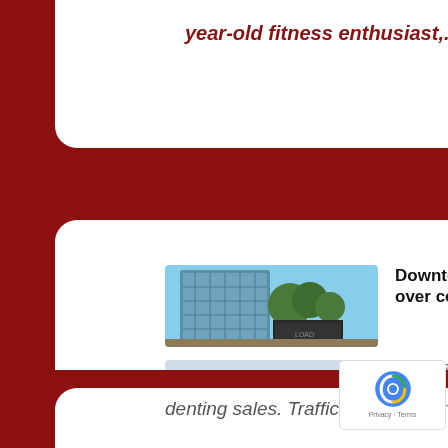year-old fitness enthusiast,...
[Figure (photo): Glass office building with trees and construction truck]
Downtown bus... over construct...
July 9th, 2019 | by SanT...
[Figure (photo): Road with construction barriers and orange cones]
denting sales. Traffic has been limited to...